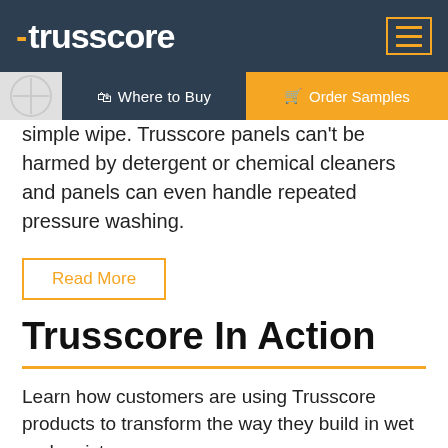trusscore
simple wipe. Trusscore panels can't be harmed by detergent or chemical cleaners and panels can even handle repeated pressure washing.
Read More
Trusscore In Action
Learn how customers are using Trusscore products to transform the way they build in wet and moist